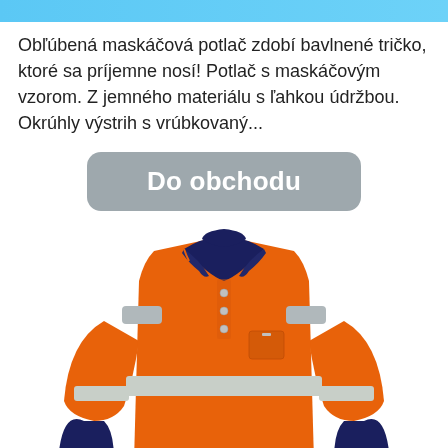Obľúbená maskáčová potlač zdobí bavlnené tričko, ktoré sa príjemne nosí! Potlač s maskáčovým vzorom. Z jemného materiálu s ľahkou údržbou. Okrúhly výstrih s vrúbkovaný...
[Figure (other): A grey rounded-rectangle button labeled 'Do obchodu' in bold white text]
[Figure (photo): A high-visibility safety polo shirt in orange and navy blue with grey reflective strips on the chest, waist, and sleeves. The shirt has a navy collar with orange trim, buttons, and a chest pocket.]